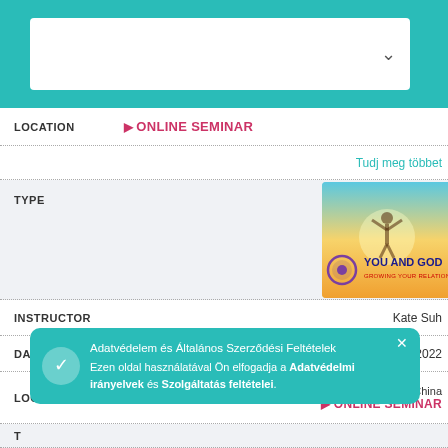[Figure (screenshot): Teal top bar with white dropdown selector box]
LOCATION   ▷ ONLINE SEMINAR
Tudj meg többet
TYPE   [You and God image]
INSTRUCTOR   Kate Suh
DATES   August 27 - 28, 2022
LOCATION   Taiwan, Republic of China   ▷ ONLINE SEMINAR
Adatvédelem és Általános Szerződési Feltételek Ezen oldal használatával Ön elfogadja a Adatvédelmi irányelvek és Szolgáltatás feltételei.